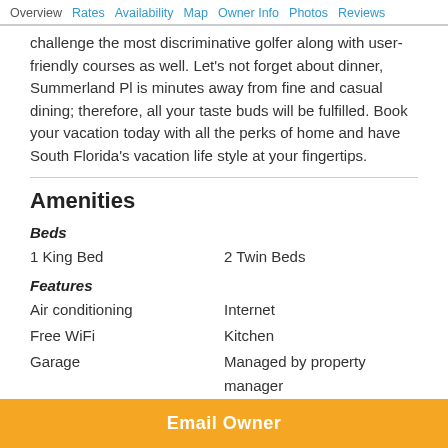Overview  Rates  Availability  Map  Owner Info  Photos  Reviews
challenge the most discriminative golfer along with user-friendly courses as well. Let’s not forget about dinner, Summerland Pl is minutes away from fine and casual dining; therefore, all your taste buds will be fulfilled. Book your vacation today with all the perks of home and have South Florida’s vacation life style at your fingertips.
Amenities
Beds
1 King Bed    2 Twin Beds
Features
Air conditioning    Internet
Free WiFi    Kitchen
Garage    Managed by property manager
Email Owner